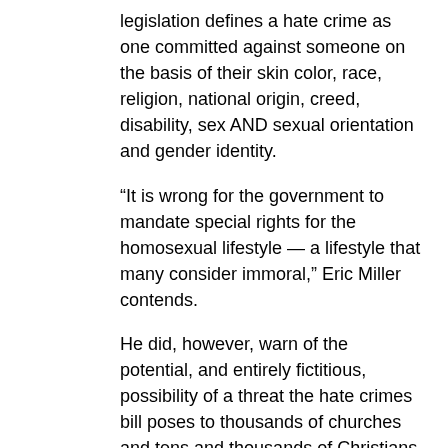legislation defines a hate crime as one committed against someone on the basis of their skin color, race, religion, national origin, creed, disability, sex AND sexual orientation and gender identity.
“It is wrong for the government to mandate special rights for the homosexual lifestyle — a lifestyle that many consider immoral,” Eric Miller contends.
He did, however, warn of the potential, and entirely fictitious, possibility of a threat the hate crimes bill poses to thousands of churches and tens and thousands of Christians across the state.
“This bill represents a step in the wrong direction with regard to free speech,” he warned. “Will the next step be to prohibit speech that someone views as hateful? For example, will legislation be introduced to prohibit pastors from speaking out against the homosexual lifestyle from the pulpit?